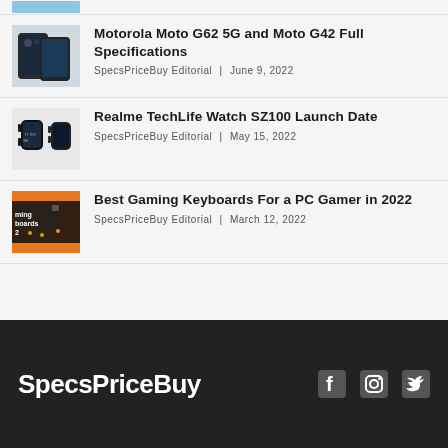[Figure (photo): Partial view of a smartphone or device image at top of page (cropped)]
[Figure (photo): Motorola Moto G62 5G and Moto G42 smartphones shown from front and back]
Motorola Moto G62 5G and Moto G42 Full Specifications
SpecsPriceBuy Editorial | June 9, 2022
[Figure (photo): Realme TechLife Watch SZ100 smartwatch shown from multiple angles]
Realme TechLife Watch SZ100 Launch Date
SpecsPriceBuy Editorial | May 15, 2022
[Figure (photo): Best Gaming Keyboards with orange and black background]
Best Gaming Keyboards For a PC Gamer in 2022
SpecsPriceBuy Editorial | March 12, 2022
SpecsPriceBuy